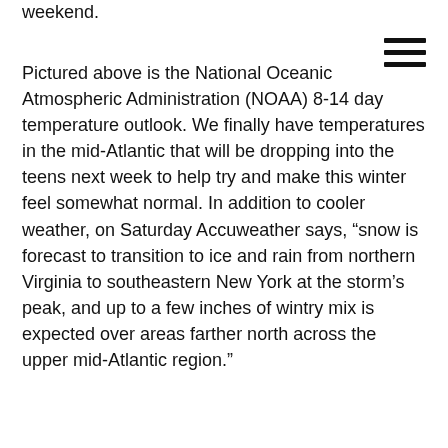weekend.
Pictured above is the National Oceanic Atmospheric Administration (NOAA) 8-14 day temperature outlook. We finally have temperatures in the mid-Atlantic that will be dropping into the teens next week to help try and make this winter feel somewhat normal. In addition to cooler weather, on Saturday Accuweather says, “snow is forecast to transition to ice and rain from northern Virginia to southeastern New York at the storm’s peak, and up to a few inches of wintry mix is expected over areas farther north across the upper mid-Atlantic region.”